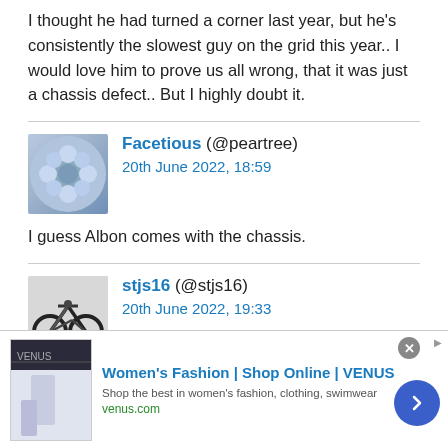I thought he had turned a corner last year, but he's consistently the slowest guy on the grid this year.. I would love him to prove us all wrong, that it was just a chassis defect.. But I highly doubt it.
Facetious (@peartree)
20th June 2022, 18:59
I guess Albon comes with the chassis.
stjs16 (@stjs16)
20th June 2022, 19:33
I'm not an F1 driver but I'll stick my neck out, its not the
[Figure (illustration): Advertisement banner for Women's Fashion - VENUS. Shows thumbnail image on left, ad title 'Women's Fashion | Shop Online | VENUS', description 'Shop the best in women's fashion, clothing, swimwear', URL 'venus.com', close button (X), and blue arrow navigation button.]